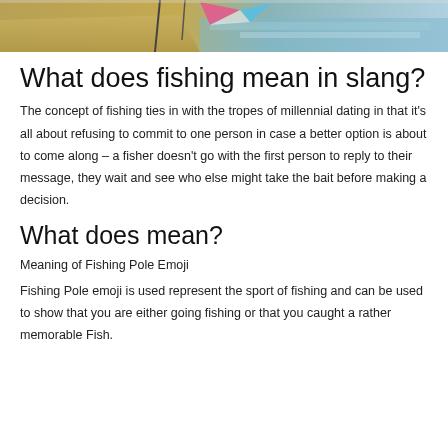[Figure (photo): Partial photo of a beach or lake scene with sand, poles/flags, and colorful water or sky in the background]
What does fishing mean in slang?
The concept of fishing ties in with the tropes of millennial dating in that it's all about refusing to commit to one person in case a better option is about to come along – a fisher doesn't go with the first person to reply to their message, they wait and see who else might take the bait before making a decision.
What does mean?
Meaning of Fishing Pole Emoji
Fishing Pole emoji is used represent the sport of fishing and can be used to show that you are either going fishing or that you caught a rather memorable Fish.